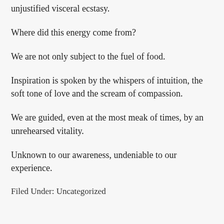unjustified visceral ecstasy.
Where did this energy come from?
We are not only subject to the fuel of food.
Inspiration is spoken by the whispers of intuition, the soft tone of love and the scream of compassion.
We are guided, even at the most meak of times, by an unrehearsed vitality.
Unknown to our awareness, undeniable to our experience.
Filed Under: Uncategorized